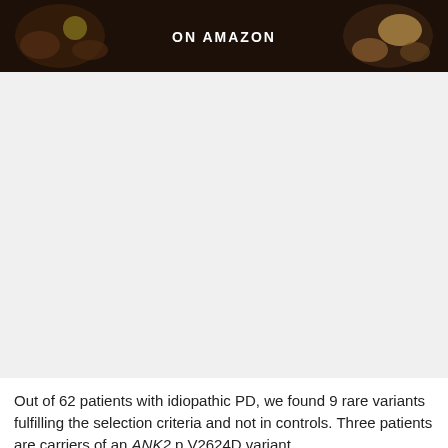[Figure (photo): Advertisement banner with text 'ON AMAZON' over a dark background with food/supplement products visible on left and right sides]
Out of 62 patients with idiopathic PD, we found 9 rare variants fulfilling the selection criteria and not in controls. Three patients are carriers of an ANK2 p.V2624D variant